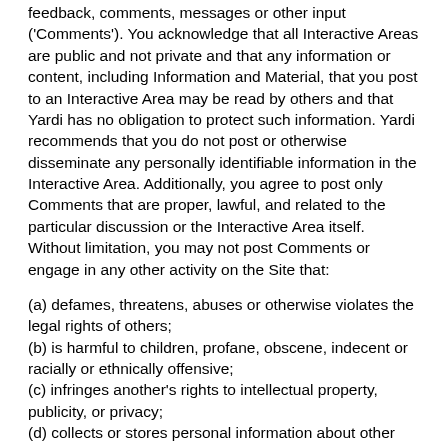feedback, comments, messages or other input ('Comments'). You acknowledge that all Interactive Areas are public and not private and that any information or content, including Information and Material, that you post to an Interactive Area may be read by others and that Yardi has no obligation to protect such information. Yardi recommends that you do not post or otherwise disseminate any personally identifiable information in the Interactive Area. Additionally, you agree to post only Comments that are proper, lawful, and related to the particular discussion or the Interactive Area itself. Without limitation, you may not post Comments or engage in any other activity on the Site that:
(a) defames, threatens, abuses or otherwise violates the legal rights of others;
(b) is harmful to children, profane, obscene, indecent or racially or ethnically offensive;
(c) infringes another's rights to intellectual property, publicity, or privacy;
(d) collects or stores personal information about other Site users;
(e) contains advertisements, promotions, commercial solicitations, contests or surveys (unless you have our written consent to do so);
(f) contains, transmits or disseminates spam, chain letters, or information intended to assist in the placement of a bet or wager;